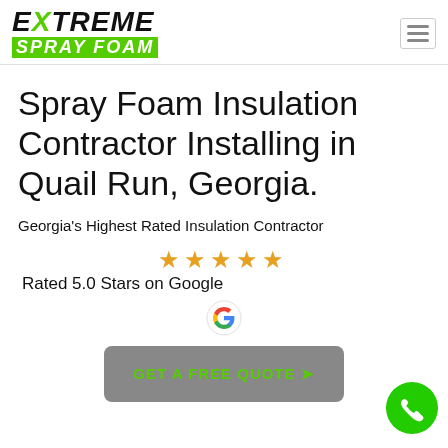[Figure (logo): Extreme Spray Foam logo: 'EXTREME' in black bold italic with green X, 'SPRAY FOAM' in white bold italic on green background]
Spray Foam Insulation Contractor Installing in Quail Run, Georgia.
Georgia's Highest Rated Insulation Contractor
[Figure (infographic): Five gold stars rating display with 'Rated 5.0 Stars on Google' text and Google G logo icon]
[Figure (other): GET A FREE QUOTE button with arrow, gray rounded rectangle background with green text]